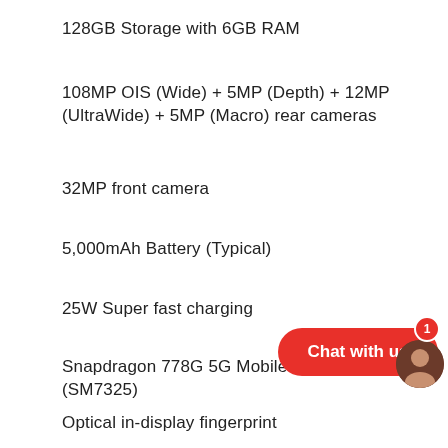128GB Storage with 6GB RAM
108MP OIS (Wide) + 5MP (Depth) + 12MP (UltraWide) + 5MP (Macro) rear cameras
32MP front camera
5,000mAh Battery (Typical)
25W Super fast charging
Snapdragon 778G 5G Mobile Platform (SM7325)
Optical in-display fingerprint
Facial recognition
Secured by Knox